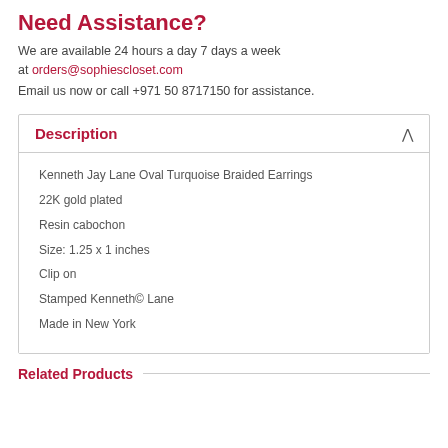Need Assistance?
We are available 24 hours a day 7 days a week at orders@sophiescloset.com
Email us now or call +971 50 8717150 for assistance.
Description
Kenneth Jay Lane Oval Turquoise Braided Earrings
22K gold plated
Resin cabochon
Size: 1.25 x 1 inches
Clip on
Stamped Kenneth© Lane
Made in New York
Related Products